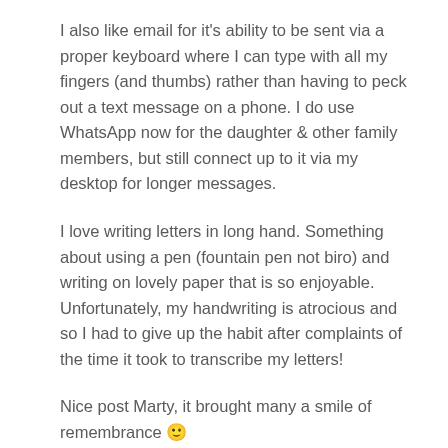I also like email for it's ability to be sent via a proper keyboard where I can type with all my fingers (and thumbs) rather than having to peck out a text message on a phone. I do use WhatsApp now for the daughter & other family members, but still connect up to it via my desktop for longer messages.
I love writing letters in long hand. Something about using a pen (fountain pen not biro) and writing on lovely paper that is so enjoyable. Unfortunately, my handwriting is atrocious and so I had to give up the habit after complaints of the time it took to transcribe my letters!
Nice post Marty, it brought many a smile of remembrance 🙂